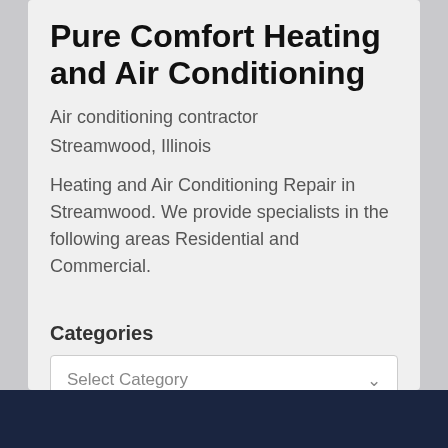Pure Comfort Heating and Air Conditioning
Air conditioning contractor
Streamwood, Illinois
Heating and Air Conditioning Repair in Streamwood. We provide specialists in the following areas Residential and Commercial.
Categories
Select Category